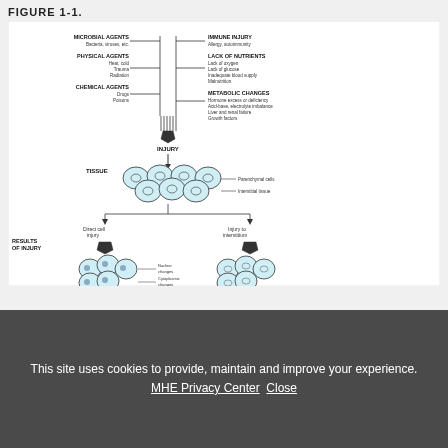FIGURE 1-1.
[Figure (schematic): Medical diagram showing causes of cellular injury (microbial agents, physical agents, chemical agents on left; immune injury, lack of nutrients, metabolic changes on right) converging to INJURY, then to TISSUE (parenchymal cells and interstitial tissue), then branching to Direct cell injury leading to Parenchymal cell degeneration and necrosis (with nuclear changes and cytoplasmic changes), and Injury to interstitium leading to Interstitial degeneration. An Indirect cell injury pathway is also shown at the bottom. Source: Chandrasoma P, Taylor CR: Concise Pathology, 3rd Edition; http://www.accessmedicine.com. Copyright The McGraw-Hill Companies, Inc. All rights reserved.]
This site uses cookies to provide, maintain and improve your experience. MHE Privacy Center Close